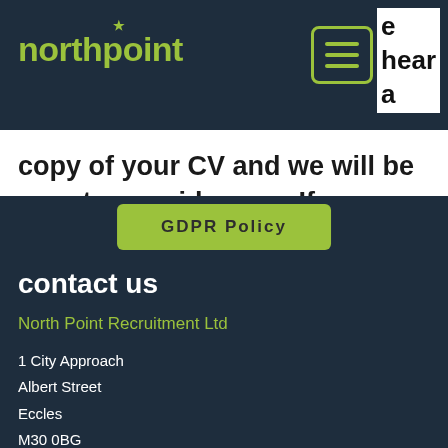northpoint
copy of your CV and we will be sure to consider you. If you would like to speak to us directly then please call on 0161 236 8200.
GDPR Policy
contact us
North Point Recruitment Ltd
1 City Approach
Albert Street
Eccles
M30 0BG
0161 236 8200
hello@wearenorthpoint.com